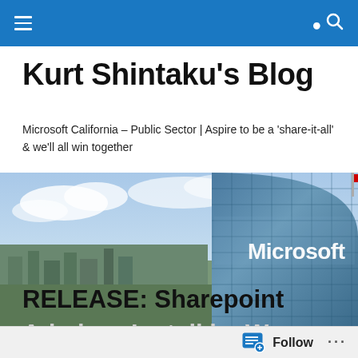Kurt Shintaku's Blog navigation bar
Kurt Shintaku's Blog
Microsoft California – Public Sector | Aspire to be a 'share-it-all' & we'll all win together
[Figure (photo): Exterior photograph of a Microsoft office building with glass facade and Microsoft signage, with a city skyline and cloudy sky in the background]
RELEASE: Sharepoint Admin… Install be W…
Follow